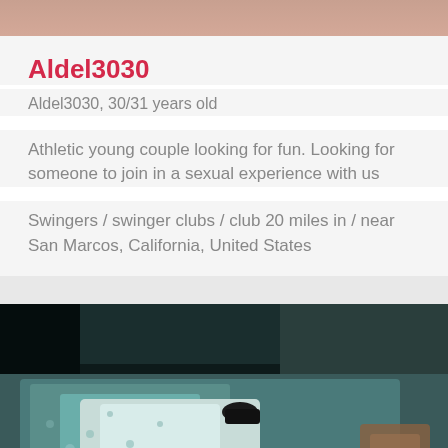[Figure (photo): Top cropped photo showing partial view of person(s), skin tones visible]
Aldel3030
Aldel3030, 30/31 years old
Athletic young couple looking for fun. Looking for someone to join in a sexual experience with us
Swingers / swinger clubs / club 20 miles in / near San Marcos, California, United States
[Figure (photo): Dark photo of a bedroom scene with patterned bedding/sheets visible in teal/blue tones]